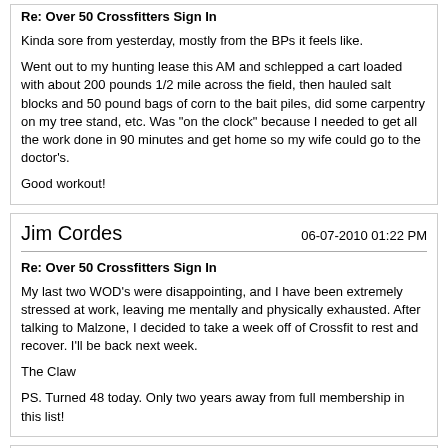Re: Over 50 Crossfitters Sign In
Kinda sore from yesterday, mostly from the BPs it feels like.
Went out to my hunting lease this AM and schlepped a cart loaded with about 200 pounds 1/2 mile across the field, then hauled salt blocks and 50 pound bags of corn to the bait piles, did some carpentry on my tree stand, etc. Was "on the clock" because I needed to get all the work done in 90 minutes and get home so my wife could go to the doctor's.
Good workout!
Jim Cordes
06-07-2010 01:22 PM
Re: Over 50 Crossfitters Sign In
My last two WOD's were disappointing, and I have been extremely stressed at work, leaving me mentally and physically exhausted. After talking to Malzone, I decided to take a week off of Crossfit to rest and recover. I'll be back next week.
The Claw
PS. Turned 48 today. Only two years away from full membership in this list!